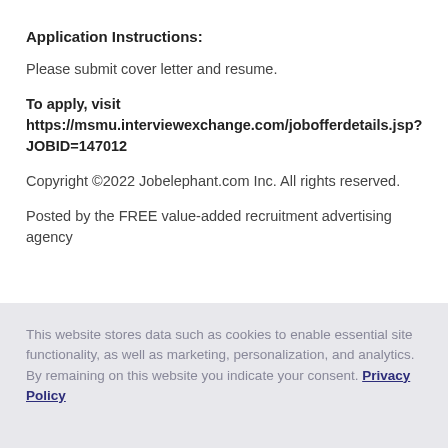Application Instructions:
Please submit cover letter and resume.
To apply, visit https://msmu.interviewexchange.com/jobofferdetails.jsp?JOBID=147012
Copyright ©2022 Jobelephant.com Inc. All rights reserved.
Posted by the FREE value-added recruitment advertising agency
This website stores data such as cookies to enable essential site functionality, as well as marketing, personalization, and analytics. By remaining on this website you indicate your consent. Privacy Policy